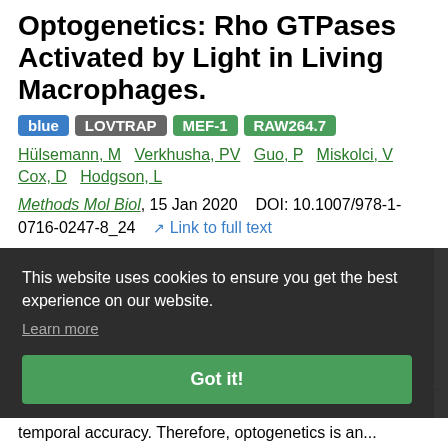Optogenetics: Rho GTPases Activated by Light in Living Macrophages.
blue LOVTRAP MEF-1 RAW264.7
Hülsemann, M  Verkhusha, PV  Guo, P  Miskolci, V  Cox, D  Hodgson, L
Methods Mol Biol, 15 Jan 2020    DOI: 10.1007/978-1-0716-0247-8_24    Link to full text
Abstract: Genetically encoded optogenetic tools are increasingly popular and useful for perturbing...
This website uses cookies to ensure you get the best experience on our website. Learn more Got it!
ule
-1-
and
temporal accuracy. Therefore, optogenetics is an...